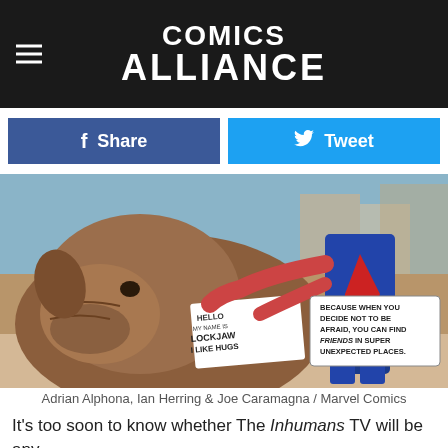COMICS ALLIANCE
[Figure (screenshot): Two social sharing buttons: a blue Facebook 'Share' button and a cyan Twitter 'Tweet' button]
[Figure (illustration): Marvel Comics illustration showing Lockjaw the giant bulldog wearing a 'Hello My Name Is Lockjaw I Like Hugs' sign, being hugged by a superhero. Speech bubble reads: 'BECAUSE WHEN YOU DECIDE NOT TO BE AFRAID, YOU CAN FIND FRIENDS IN SUPER UNEXPECTED PLACES.']
Adrian Alphona, Ian Herring & Joe Caramagna / Marvel Comics
It's too soon to know whether The Inhumans TV will be any